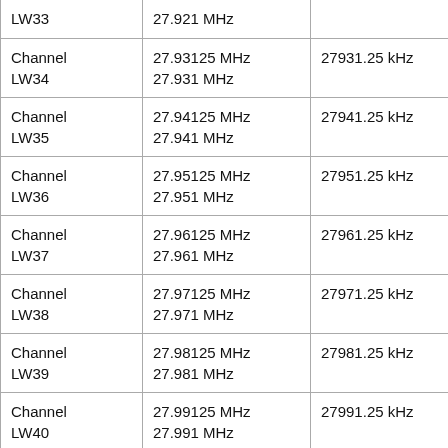| Channel | Frequency (MHz) | Frequency (kHz) |
| --- | --- | --- |
| Channel LW34 | 27.93125 MHz
27.931 MHz | 27931.25 kHz |
| Channel LW35 | 27.94125 MHz
27.941 MHz | 27941.25 kHz |
| Channel LW36 | 27.95125 MHz
27.951 MHz | 27951.25 kHz |
| Channel LW37 | 27.96125 MHz
27.961 MHz | 27961.25 kHz |
| Channel LW38 | 27.97125 MHz
27.971 MHz | 27971.25 kHz |
| Channel LW39 | 27.98125 MHz
27.981 MHz | 27981.25 kHz |
| Channel LW40 | 27.99125 MHz
27.991 MHz | 27991.25 kHz |
| Channel UW01 | 27.605 MHz | 27605 kHz |
| Channel UW02 | 27.615 MHz | 27615 kHz |
| Channel UW03 | 27.625 MHz | 27625 kHz |